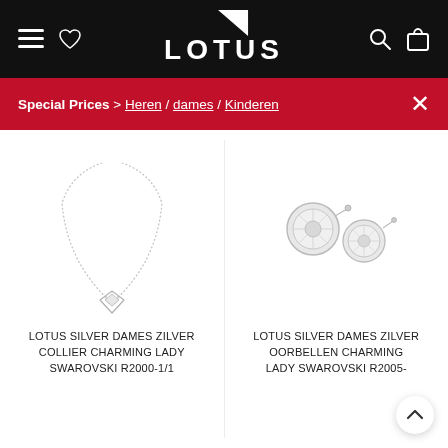Lotus — navigation header with hamburger menu, heart icon, Lotus logo, search icon, and shopping bag icon
Special Prices > Heren / dames / Kinderen
[Figure (photo): Silver necklace with heart-shaped pendant — Lotus Silver product photo on white background]
[Figure (photo): Silver stud earrings with crystal — Lotus Silver product photo on white background]
LOTUS SILVER DAMES ZILVER COLLIER CHARMING LADY SWAROVSKI R2000-1/1
LOTUS SILVER DAMES ZILVER OORBELLEN CHARMING LADY SWAROVSKI R2005-